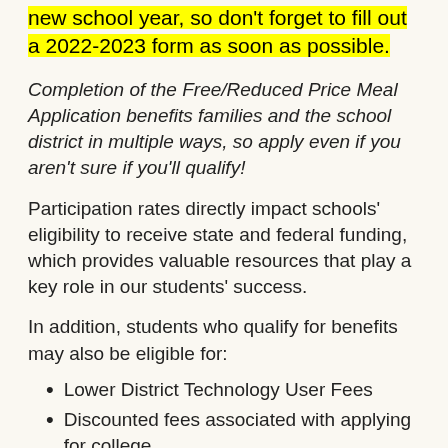new school year, so don't forget to fill out a 2022-2023 form as soon as possible.
Completion of the Free/Reduced Price Meal Application benefits families and the school district in multiple ways, so apply even if you aren't sure if you'll qualify!
Participation rates directly impact schools' eligibility to receive state and federal funding, which provides valuable resources that play a key role in our students' success.
In addition, students who qualify for benefits may also be eligible for:
Lower District Technology User Fees
Discounted fees associated with applying for college
Reduced fees associated with academic tests